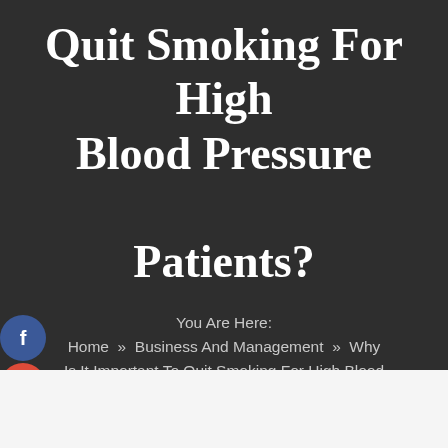Quit Smoking For High Blood Pressure Patients?
You Are Here: Home » Business And Management » Why Is It Important To Quit Smoking For High Blood Pressure Patients?
[Figure (infographic): Four social media icon buttons stacked vertically on the left side: Facebook (blue circle with 'f'), Google+ (red circle with 'g+'), Twitter (blue circle with bird icon), and a plus/share button (dark blue circle with '+')]